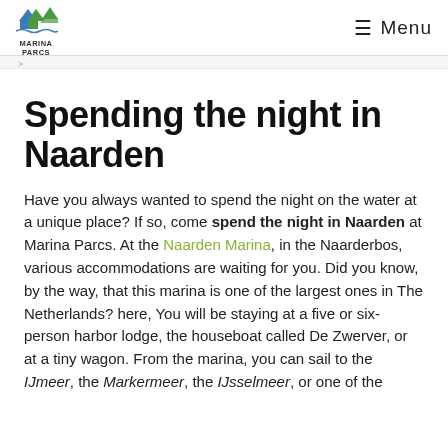Marina Parcs | Menu
Spending the night in Naarden
Have you always wanted to spend the night on the water at a unique place? If so, come spend the night in Naarden at Marina Parcs. At the Naarden Marina, in the Naarderbos, various accommodations are waiting for you. Did you know, by the way, that this marina is one of the largest ones in The Netherlands? here, You will be staying at a five or six-person harbor lodge, the houseboat called De Zwerver, or at a tiny wagon. From the marina, you can sail to the IJmeer, the Markermeer, the IJsselmeer, or one of the